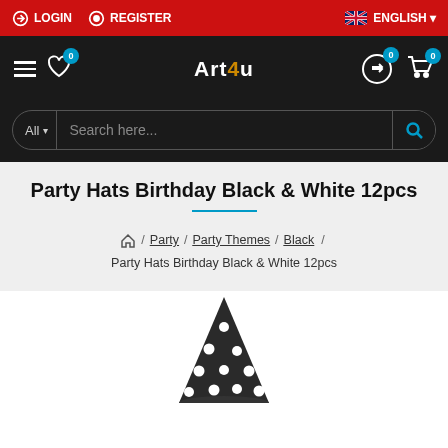LOGIN  REGISTER  ENGLISH
[Figure (screenshot): Dark navigation bar with hamburger menu, heart wishlist icon with badge 0, Art4u logo, compare icon with badge 0, cart icon with badge 0]
All  Search here...
Party Hats Birthday Black & White 12pcs
Home / Party / Party Themes / Black / Party Hats Birthday Black & White 12pcs
[Figure (photo): Black and white polka dot party hat shown partially at the bottom of the page]